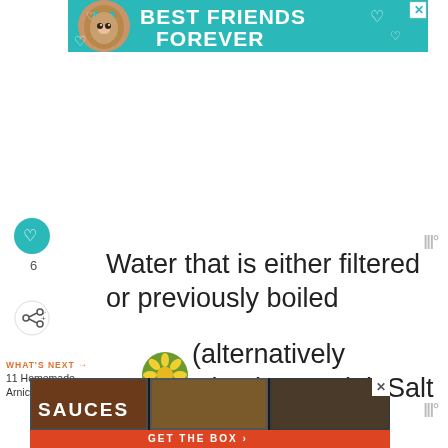[Figure (infographic): Teal advertisement banner with cat photo reading BEST FRIENDS FOREVER with hearts]
[Figure (infographic): Teal circular heart/favorite button icon]
6  Water that is either filtered or previously boiled
[Figure (infographic): Share button icon (circular with share symbol)]
WHAT'S NEXT → 11 Homemade Arnica Salve...
(alternatively Himalayan Pink Salt will work)
[Figure (photo): Circular thumbnail of yellow flowers (arnica) for What's Next]
[Figure (infographic): Bottom advertisement banner for SAUCES - GET THE BOX with food images]